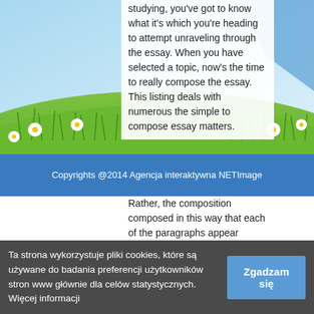[Figure (illustration): Nature banner with green meadow, daisies, grass, and blue sky background spanning the top portion of the page]
studying, you've got to know what it's which you're heading to attempt unraveling through the essay. When you have selected a topic, now's the time to really compose the essay. This listing deals with numerous the simple to compose essay matters.
Copyrights @2014 Agencja interaktywna NETImage
Rather, the composition composed in this way that each of the paragraphs appear associated with each additional.
Sites like thredup,
Ta strona wykorzystuje pliki cookies, które są używane do badania preferencji użytkowników stron www głównie dla celów statystycznych. Więcej informacji